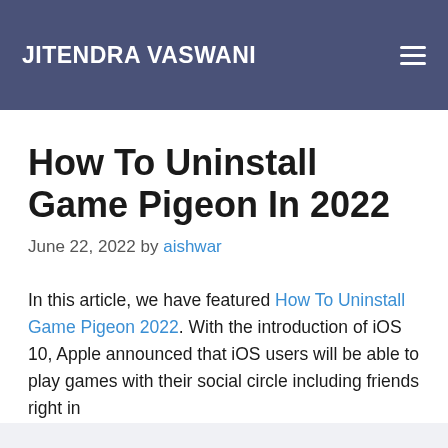JITENDRA VASWANI
How To Uninstall Game Pigeon In 2022
June 22, 2022 by aishwar
In this article, we have featured How To Uninstall Game Pigeon 2022. With the introduction of iOS 10, Apple announced that iOS users will be able to play games with their social circle including friends right in